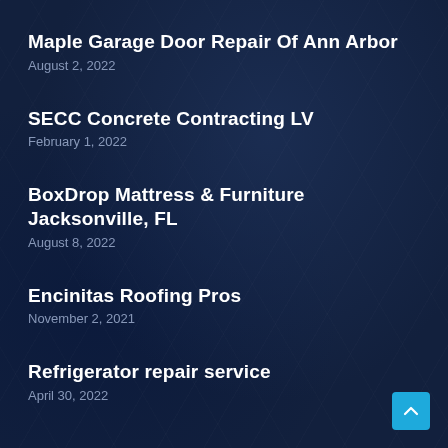Maple Garage Door Repair Of Ann Arbor
August 2, 2022
SECC Concrete Contracting LV
February 1, 2022
BoxDrop Mattress & Furniture Jacksonville, FL
August 8, 2022
Encinitas Roofing Pros
November 2, 2021
Refrigerator repair service
April 30, 2022